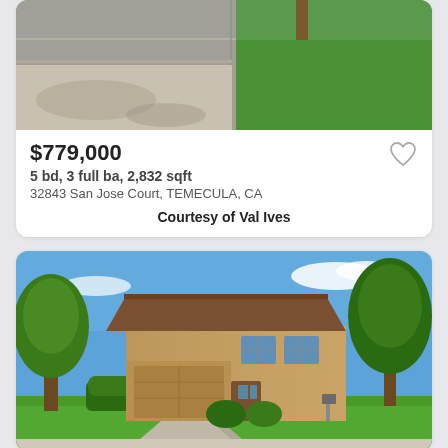[Figure (photo): Aerial or street view of a road/driveway with grass and pavement, partially cropped at top]
$779,000
5 bd, 3 full ba, 2,832 sqft
32843 San Jose Court, TEMECULA, CA
Courtesy of Val Ives
[Figure (photo): Exterior photo of a two-story Spanish-style home with tan stucco siding, tile roof, two-car garage, mature trees, and green lawn]